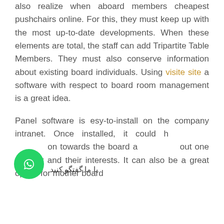also realize when aboard members cheapest pushchairs online. For this, they must keep up with the most up-to-date developments. When these elements are total, the staff can add Tripartite Table Members. They must also conserve information about existing board individuals. Using visite site a software with respect to board room management is a great idea.
Panel software is esy-to-install on the company intranet. Once installed, it could help share information towards the board animates about one another and their interests. It can also be a great option for mother board
[Figure (illustration): Green WhatsApp floating chat button with Persian label 'با ما گفتگو کنید' (Chat with us)]